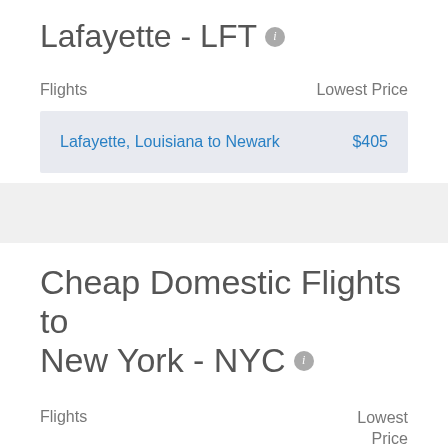Lafayette - LFT
| Flights | Lowest Price |
| --- | --- |
| Lafayette, Louisiana to Newark | $405 |
Cheap Domestic Flights to New York - NYC
Flights   Lowest Price